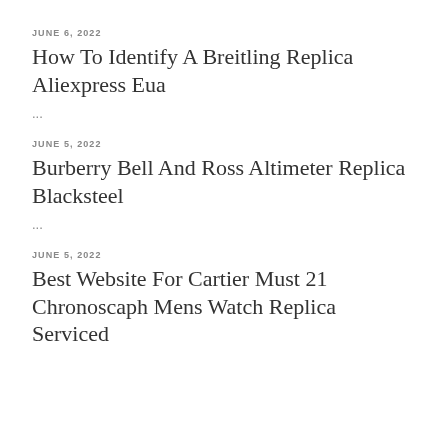JUNE 6, 2022
How To Identify A Breitling Replica Aliexpress Eua
...
JUNE 5, 2022
Burberry Bell And Ross Altimeter Replica Blacksteel
...
JUNE 5, 2022
Best Website For Cartier Must 21 Chronoscaph Mens Watch Replica Serviced